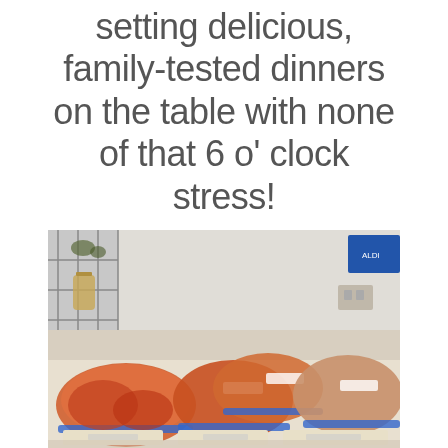setting delicious, family-tested dinners on the table with none of that 6 o' clock stress!
[Figure (photo): Multiple zip-lock bags filled with marinated meats and meals prepped for freezer cooking, displayed on a table. Background shows a wire shelf with decorative items and a beige wall.]